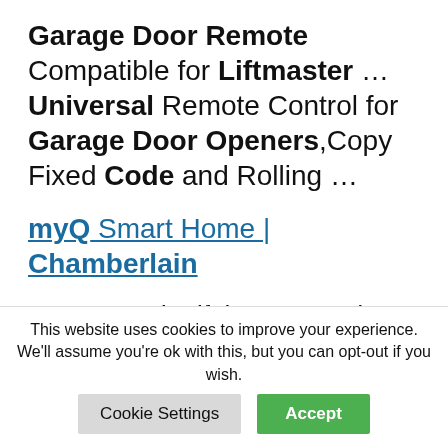Garage Door Remote Compatible for Liftmaster ... Universal Remote Control for Garage Door Openers,Copy Fixed Code and Rolling ...
myQ Smart Home | Chamberlain
Never wonder if the garage door was left open again. ... KEY BY AMAZON ... using the myQ App or garage remote: Requires a myQ connected
This website uses cookies to improve your experience. We'll assume you're ok with this, but you can opt-out if you wish.